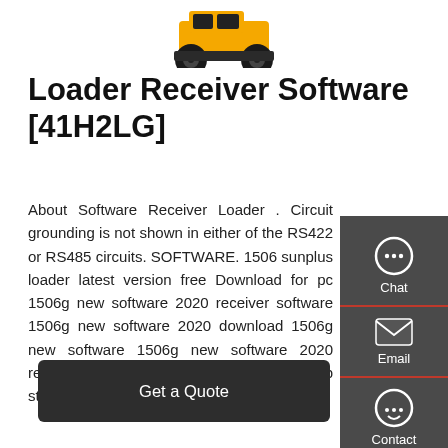[Figure (photo): Partial view of a yellow and black compact loader/construction machine showing wheels and lower body]
Loader Receiver Software [41H2LG]
About Software Receiver Loader . Circuit grounding is not shown in either of the RS422 or RS485 circuits. SOFTWARE. 1506 sunplus loader latest version free Download for pc 1506g new software 2020 receiver software 1506g new software 2020 download 1506g new software 1506g new software 2020 receiver option 1506g new software 2020 usb startrek sr-9990 magic …
[Figure (other): Side panel with Chat, Email, and Contact icons on dark gray background]
Get a Quote